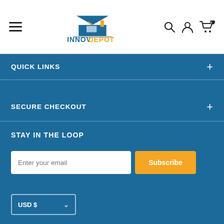[Figure (logo): InnovDepot logo with house icon above the brand name INNOVDEPOT in blue and orange text]
QUICK LINKS
SECURE CHECKOUT
STAY IN THE LOOP
Enter your email / Subscribe button
USD $